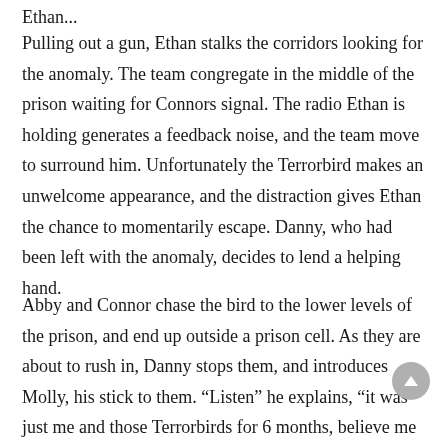Ethan...
Pulling out a gun, Ethan stalks the corridors looking for the anomaly. The team congregate in the middle of the prison waiting for Connors signal. The radio Ethan is holding generates a feedback noise, and the team move to surround him. Unfortunately the Terrorbird makes an unwelcome appearance, and the distraction gives Ethan the chance to momentarily escape. Danny, who had been left with the anomaly, decides to lend a helping hand.
Abby and Connor chase the bird to the lower levels of the prison, and end up outside a prison cell. As they are about to rush in, Danny stops them, and introduces Molly, his stick to them. “Listen” he explains, “it was just me and those Terrorbirds for 6 months, believe me